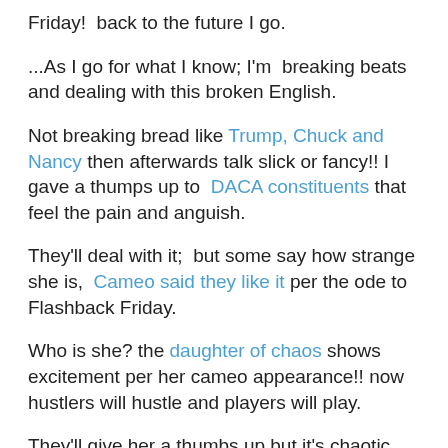Friday!  back to the future I go.
...As I go for what I know; I'm  breaking beats and dealing with this broken English.
Not breaking bread like Trump, Chuck and Nancy then afterwards talk slick or fancy!! I gave a thumps up to  DACA constituents that feel the pain and anguish.
They'll deal with it;  but some say how strange she is,  Cameo said they like it per the ode to Flashback Friday.
Who is she? the daughter of chaos shows excitement per her cameo appearance!! now hustlers will hustle and players will play.
They'll give her a thumbs up but it's chaotic, after